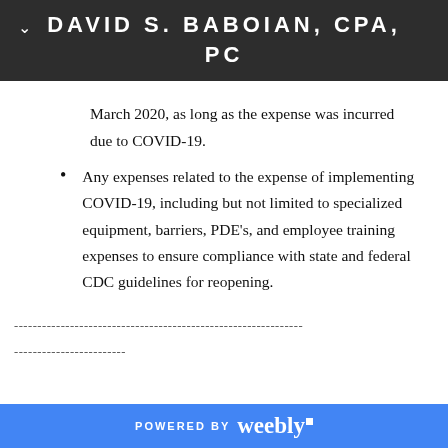DAVID S. BABOIAN, CPA, PC
March 2020, as long as the expense was incurred due to COVID-19.
Any expenses related to the expense of implementing COVID-19, including but not limited to specialized equipment, barriers, PDE's, and employee training expenses to ensure compliance with state and federal CDC guidelines for reopening.
POWERED BY weebly